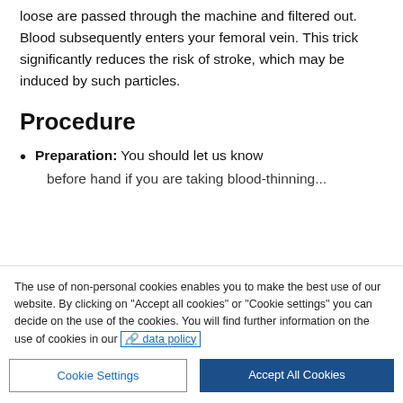any small particles which may have come loose are passed through the machine and filtered out. Blood subsequently enters your femoral vein. This trick significantly reduces the risk of stroke, which may be induced by such particles.
Procedure
Preparation: You should let us know before hand if you are taking blood-thinning...
The use of non-personal cookies enables you to make the best use of our website. By clicking on "Accept all cookies" or "Cookie settings" you can decide on the use of the cookies. You will find further information on the use of cookies in our data policy